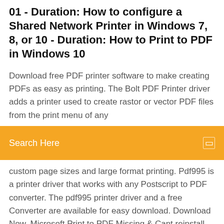01 - Duration: How to configure a Shared Network Printer in Windows 7, 8, or 10 - Duration: How to Print to PDF in Windows 10
Download free PDF printer software to make creating PDFs as easy as printing. The Bolt PDF Printer driver adds a printer used to create rastor or vector PDF files from the print menu of any
[Figure (screenshot): Orange search bar with placeholder text 'Search Here' and a small search icon on the right]
custom page sizes and large format printing. Pdf995 is a printer driver that works with any Postscript to PDF converter. The pdf995 printer driver and a free Converter are available for easy download. Download Now. Microsoft Print to PDF Missing & Cant reinstall Issue: Microsoft Print to PDF Missing and I can't get it reinstalled. Methods I've Tried but have FAILED!: I've already ran the printer troubleshooter to try to reinstall it, did not reinstall. Because Microsoft Printer to PDF is not in Windows 8 Windows 8.1 is a new operating system, however, with no